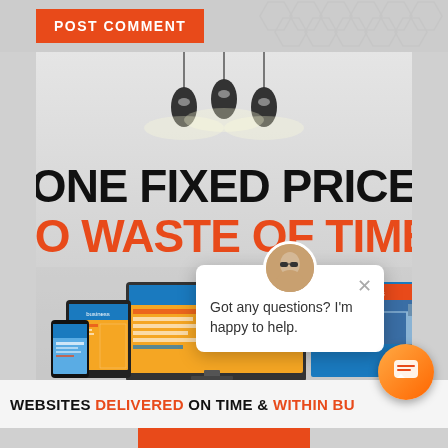POST COMMENT
[Figure (infographic): Advertisement banner with pendant lights, large text 'ONE FIXED PRICE' in black and 'NO WASTE OF TIME!' in orange-red, with devices mockup (desktop, tablet, phone) below]
[Figure (screenshot): Chat popup overlay with avatar, close button (x), and text 'Got any questions? I'm happy to help.']
WEBSITES DELIVERED ON TIME & WITHIN BU...